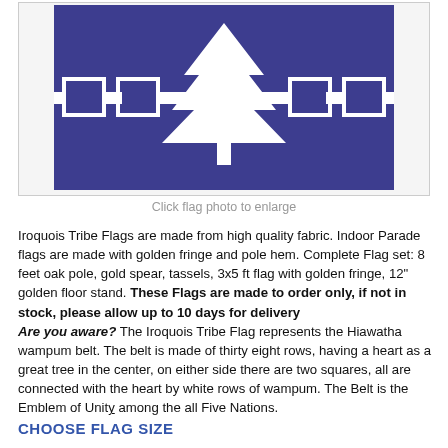[Figure (illustration): Iroquois Tribe Flag — purple/blue background with white tree (pine) in center and white square geometric shapes on either side, representing the Hiawatha wampum belt]
Click flag photo to enlarge
Iroquois Tribe Flags are made from high quality fabric. Indoor Parade flags are made with golden fringe and pole hem. Complete Flag set: 8 feet oak pole, gold spear, tassels, 3x5 ft flag with golden fringe, 12" golden floor stand. These Flags are made to order only, if not in stock, please allow up to 10 days for delivery Are you aware? The Iroquois Tribe Flag represents the Hiawatha wampum belt. The belt is made of thirty eight rows, having a heart as a great tree in the center, on either side there are two squares, all are connected with the heart by white rows of wampum. The Belt is the Emblem of Unity among the all Five Nations.
CHOOSE FLAG SIZE